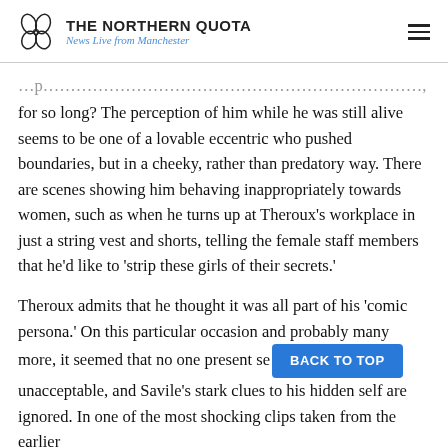THE NORTHERN QUOTA — News Live from Manchester
for so long? The perception of him while he was still alive seems to be one of a lovable eccentric who pushed boundaries, but in a cheeky, rather than predatory way. There are scenes showing him behaving inappropriately towards women, such as when he turns up at Theroux's workplace in just a string vest and shorts, telling the female staff members that he'd like to 'strip these girls of their secrets.'
Theroux admits that he thought it was all part of his 'comic persona.' On this particular occasion and probably many more, it seemed that no one present see [BACK TO TOP] g unacceptable, and Savile's stark clues to his hidden self are ignored. In one of the most shocking clips taken from the earlier